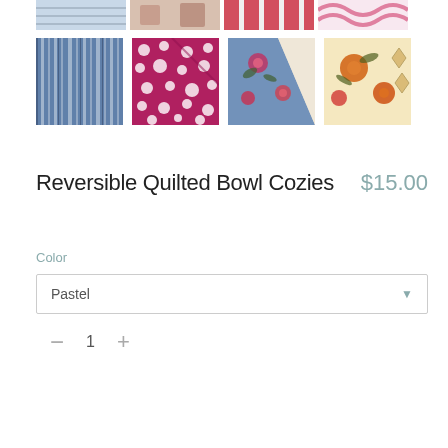[Figure (photo): Partial top row of product thumbnail images (fabric swatches) cropped at top of page]
[Figure (photo): Row of four quilted bowl cozy product thumbnails: blue striped fabric, magenta/pink polka dot fabric, colorful floral fabric, orange/cream floral fabric]
Reversible Quilted Bowl Cozies
$15.00
Color
Pastel
1